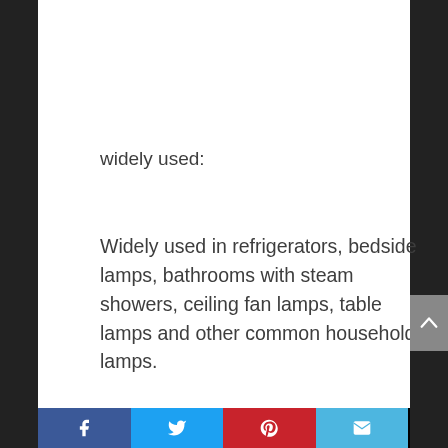widely used:
Widely used in refrigerators, bedside lamps, bathrooms with steam showers, ceiling fan lamps, table lamps and other common household lamps.
Product specifications:
Basic type: E26